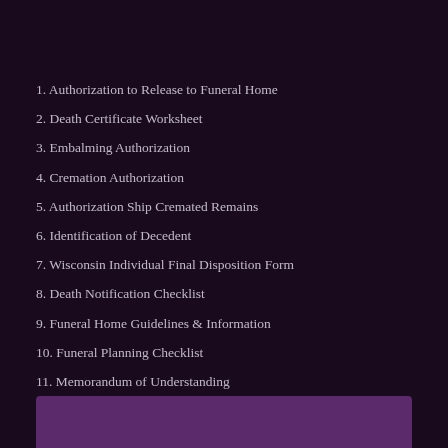1. Authorization to Release to Funeral Home
2. Death Certificate Worksheet
3. Embalming Authorization
4. Cremation Authorization
5. Authorization Ship Cremated Remains
6. Identification of Decedent
7. Wisconsin Individual Final Disposition Form
8. Death Notification Checklist
9. Funeral Home Guidelines & Information
10. Funeral Planning Checklist
11. Memorandum of Understanding